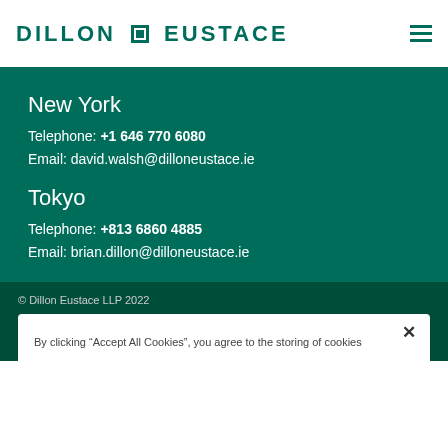DILLON EUSTACE
New York
Telephone: +1 646 770 6080
Email: david.walsh@dilloneustace.ie
Tokyo
Telephone: +813 6860 4885
Email: brian.dillon@dilloneustace.ie
© Dillon Eustace LLP 2022
By clicking “Accept All Cookies”, you agree to the storing of cookies